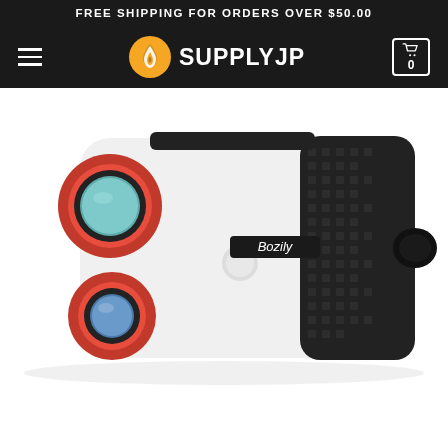FREE SHIPPING FOR ORDERS OVER $50.00
[Figure (logo): SupplyJP website navigation bar with hamburger menu, flame logo, SUPPLYJP brand name, and shopping cart icon showing 0 items]
[Figure (photo): Bozily brand golf rangefinder / laser rangefinder device in white, black, and red color scheme. The device has a large red-rimmed lens on the left, a second smaller lens below it, a textured black grip area, and a round button on the side. The Bozily brand name appears on a black label on the white body.]